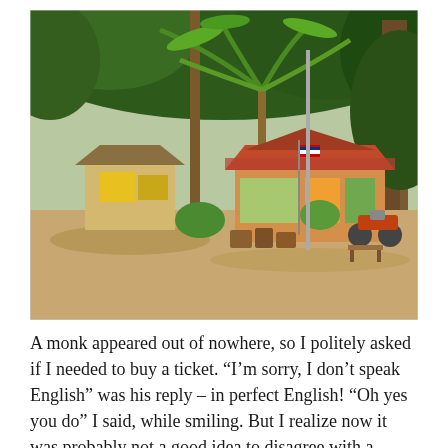[Figure (photo): Outdoor scene in a tropical setting with lush green trees including a large palm tree and a banyan tree. In the middle ground are two buildings: a small shed-like structure on the left and a colorful cottage with a red tiled roof on the right. A motorbike is parked near the colorful building. The ground is sandy/dirt. A utility pole is visible in the background.]
A monk appeared out of nowhere, so I politely asked if I needed to buy a ticket. “I’m sorry, I don’t speak English” was his reply – in perfect English! “Oh yes you do” I said, while smiling. But I realize now it was probably not a good idea to disagree with a monk. I’ll be re-incarnated as an African Dung Beetle, or worse, a Justin Bieber...